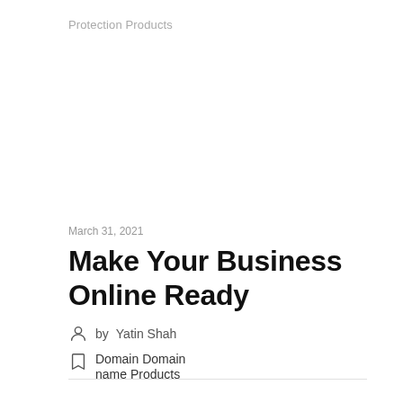Protection Products
March 31, 2021
Make Your Business Online Ready
by Yatin Shah
Domain Domain name Products